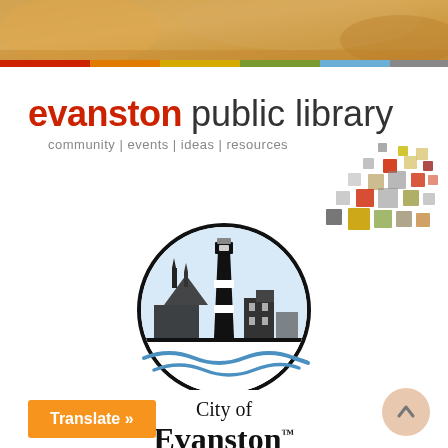[Figure (photo): Top banner with a warm golden/amber background image (books or library scene)]
[Figure (logo): Evanston Public Library logo: 'evanston' in bold red, 'public library' in thin gray, with a decorative mosaic of colored squares upper right, and tagline 'community | events | ideas | resources']
[Figure (logo): City of Evanston official seal: lighthouse and city skyline inside semicircle with blue waves below, text 'City of Evanston™' in serif font]
Translate »